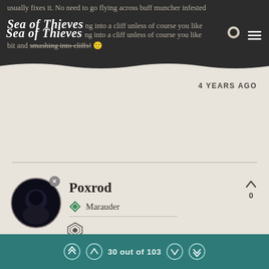Sea of Thieves
usually fixes it. No need to go flying across buff muncher infested ... ing into a cliff unless of course you like ... bit and smashing into cliffs! 🙂
4 YEARS AGO
Poxrod
Marauder
@reedski Where does it say they lowered prices?
4 YEARS AGO
30 out of 103